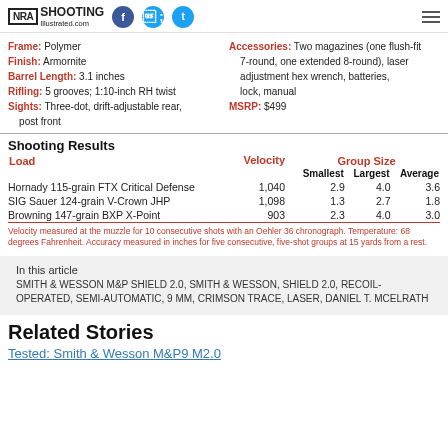NRA Shooting Illustrated .com
Frame: Polymer
Finish: Armornite
Barrel Length: 3.1 inches
Rifling: 5 grooves; 1:10-inch RH twist
Sights: Three-dot, drift-adjustable rear, post front
Accessories: Two magazines (one flush-fit 7-round, one extended 8-round), laser adjustment hex wrench, batteries, lock, manual
MSRP: $499
Shooting Results
| Load | Velocity | Smallest | Largest | Average |
| --- | --- | --- | --- | --- |
| Hornady 115-grain FTX Critical Defense | 1,040 | 2.9 | 4.0 | 3.6 |
| SIG Sauer 124-grain V-Crown JHP | 1,098 | 1.3 | 2.7 | 1.8 |
| Browning 147-grain BXP X-Point | 903 | 2.3 | 4.0 | 3.0 |
Velocity measured at the muzzle for 10 consecutive shots with an Oehler 36 chronograph. Temperature: 68 degrees Fahrenheit. Accuracy measured in inches for five consecutive, five-shot groups at 15 yards from a rest.
In this article
SMITH & WESSON M&P SHIELD 2.0, SMITH & WESSON, SHIELD 2.0, RECOIL-OPERATED, SEMI-AUTOMATIC, 9 MM, CRIMSON TRACE, LASER, DANIEL T. MCELRATH
Related Stories
Tested: Smith & Wesson M&P9 M2.0